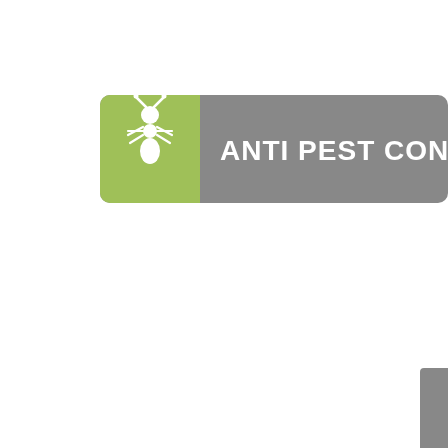[Figure (logo): Anti Pest Control logo: green square with white ant/termite silhouette icon on the left, gray rounded rectangle banner with bold white text 'ANTI PEST CONTROL' on the right. A small gray rectangle is partially visible at the bottom-right corner of the page.]